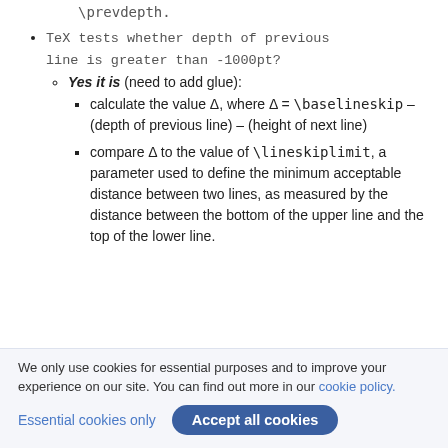\prevdepth.
TeX tests whether depth of previous line is greater than -1000pt?
Yes it is (need to add glue):
calculate the value Δ, where Δ = \baselineskip – (depth of previous line) – (height of next line)
compare Δ to the value of \lineskiplimit, a parameter used to define the minimum acceptable distance between two lines, as measured by the distance between the bottom of the upper line and the top of the lower line.
We only use cookies for essential purposes and to improve your experience on our site. You can find out more in our cookie policy.
Essential cookies only | Accept all cookies